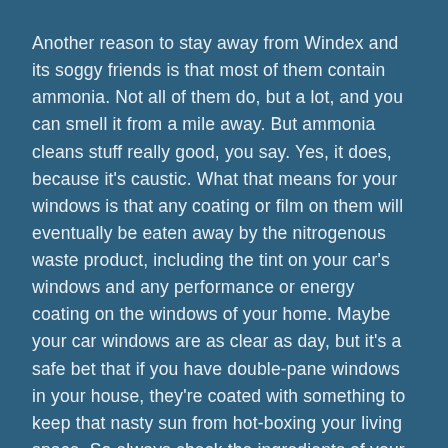Another reason to stay away from Windex and its soggy friends is that most of them contain ammonia. Not all of them do, but a lot, and you can smell it from a mile away. But ammonia cleans stuff really good, you say. Yes, it does, because it's caustic. What that means for your windows is that any coating or film on them will eventually be eaten away by the nitrogenous waste product, including the tint on your car's windows and any performance or energy coating on the windows of your home. Maybe your car windows are as clear as day, but it's a safe bet that if you have double-pane windows in your house, they're coated with something to keep that nasty sun from hot-boxing your living space. So always check the ingredients of your glass cleaner, and always avoid ammonia.
What do we use at Block & Olson? We use Sprayway